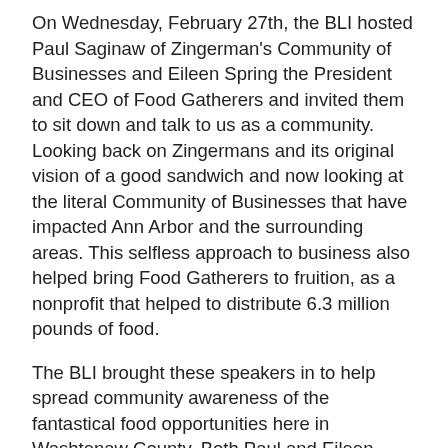On Wednesday, February 27th, the BLI hosted Paul Saginaw of Zingerman's Community of Businesses and Eileen Spring the President and CEO of Food Gatherers and invited them to sit down and talk to us as a community. Looking back on Zingermans and its original vision of a good sandwich and now looking at the literal Community of Businesses that have impacted Ann Arbor and the surrounding areas. This selfless approach to business also helped bring Food Gatherers to fruition, as a nonprofit that helped to distribute 6.3 million pounds of food.
The BLI brought these speakers in to help spread community awareness of the fantastical food opportunities here in Washtenaw County. Both Paul and Eileen were happy to open up about their past experiences and explaining how they came to be leaders in their own sense and in a sense to the community. While Paul and Eileen discussed their successes they also opened up about their failures and how they moved past